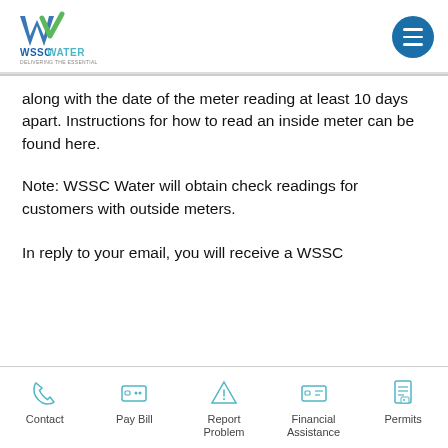WSSC Water — Delivering the Essential
along with the date of the meter reading at least 10 days apart. Instructions for how to read an inside meter can be found here.
Note: WSSC Water will obtain check readings for customers with outside meters.
In reply to your email, you will receive a WSSC
Contact | Pay Bill | Report Problem | Financial Assistance | Permits